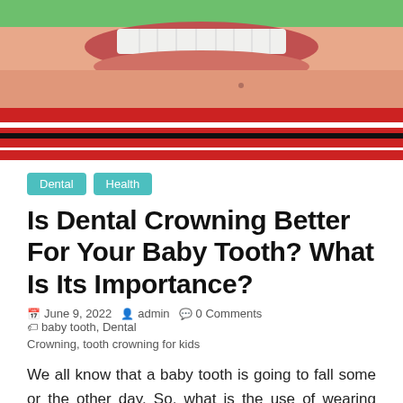[Figure (photo): Close-up photo of a young child smiling showing teeth, wearing a red and white striped shirt, with green background at top]
Dental
Health
Is Dental Crowning Better For Your Baby Tooth? What Is Its Importance?
June 9, 2022   admin   0 Comments   baby tooth, Dental Crowning, tooth crowning for kids
We all know that a baby tooth is going to fall some or the other day. So, what is the use of wearing crown on them? To tell you the truth, there are various reasons why crowning is considered better